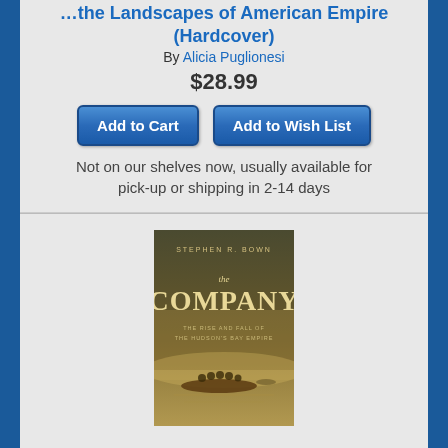… the Landscapes of American Empire (Hardcover)
By Alicia Puglionesi
$28.99
Add to Cart
Add to Wish List
Not on our shelves now, usually available for pick-up or shipping in 2-14 days
[Figure (photo): Book cover of 'The Company: The Rise and Fall of the Hudson's Bay Empire' by Stephen Bown, showing a canoe on misty water]
The Company: The Rise and Fall of the Hudson's Bay Empire (Hardcover)
By Stephen Bown
$28.95
Email or call for price